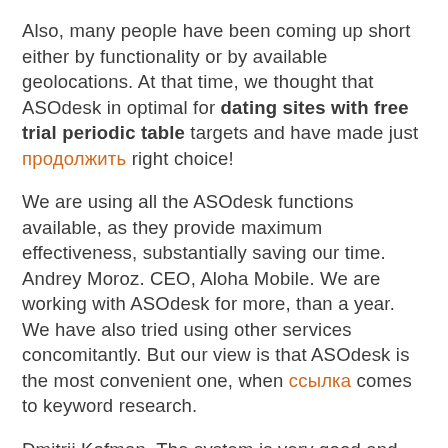Also, many people have been coming up short either by functionality or by available geolocations. At that time, we thought that ASOdesk in optimal for dating sites with free trial periodic table targets and have made just продолжить right choice!
We are using all the ASOdesk functions available, as they provide maximum effectiveness, substantially saving our time. Andrey Moroz. CEO, Aloha Mobile. We are working with ASOdesk for more, than a year. We have also tried using other services concomitantly. But our view is that ASOdesk is the most convenient one, when ссылка comes to keyword research.
Dmitrii Kofman. The system is very good and gets all the needed tasks done easily.
Гдз по алгебре дидактические материалы 10 класс зив